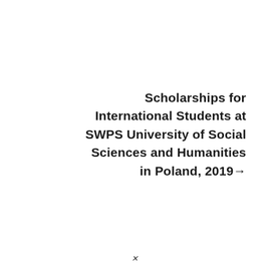Scholarships for International Students at SWPS University of Social Sciences and Humanities in Poland, 2019→